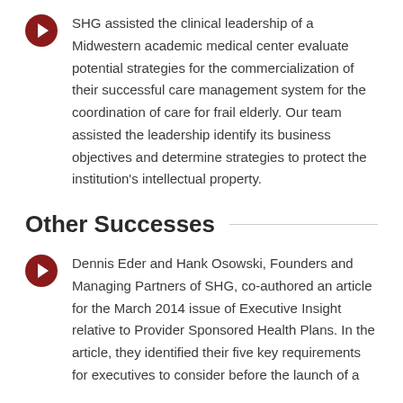SHG assisted the clinical leadership of a Midwestern academic medical center evaluate potential strategies for the commercialization of their successful care management system for the coordination of care for frail elderly. Our team assisted the leadership identify its business objectives and determine strategies to protect the institution's intellectual property.
Other Successes
Dennis Eder and Hank Osowski, Founders and Managing Partners of SHG, co-authored an article for the March 2014 issue of Executive Insight relative to Provider Sponsored Health Plans. In the article, they identified their five key requirements for executives to consider before the launch of a